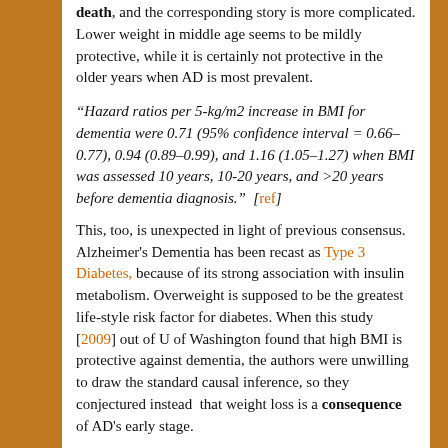death, and the corresponding story is more complicated. Lower weight in middle age seems to be mildly protective, while it is certainly not protective in the older years when AD is most prevalent.
"Hazard ratios per 5-kg/m2 increase in BMI for dementia were 0.71 (95% confidence interval = 0.66–0.77), 0.94 (0.89–0.99), and 1.16 (1.05–1.27) when BMI was assessed 10 years, 10-20 years, and >20 years before dementia diagnosis." [ref]
This, too, is unexpected in light of previous consensus. Alzheimer's Dementia has been recast as Type 3 Diabetes, because of its strong association with insulin metabolism. Overweight is supposed to be the greatest life-style risk factor for diabetes. When this study [2009] out of U of Washington found that high BMI is protective against dementia, the authors were unwilling to draw the standard causal inference, so they conjectured instead that weight loss is a consequence of AD's early stage.
There may be a better explanation hidden in their data